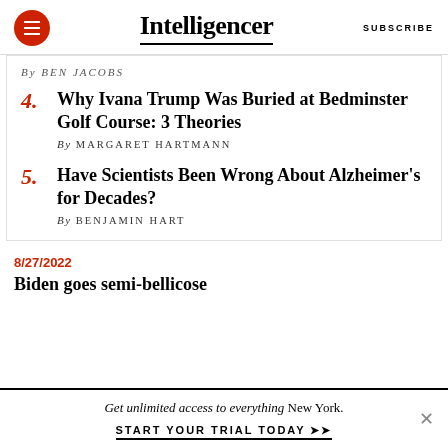Intelligencer | SUBSCRIBE
By BEN JACOBS
4. Why Ivana Trump Was Buried at Bedminster Golf Course: 3 Theories — By MARGARET HARTMANN
5. Have Scientists Been Wrong About Alzheimer's for Decades? — By BENJAMIN HART
8/27/2022
Biden goes semi-bellicose
Get unlimited access to everything New York. START YOUR TRIAL TODAY ➤➤